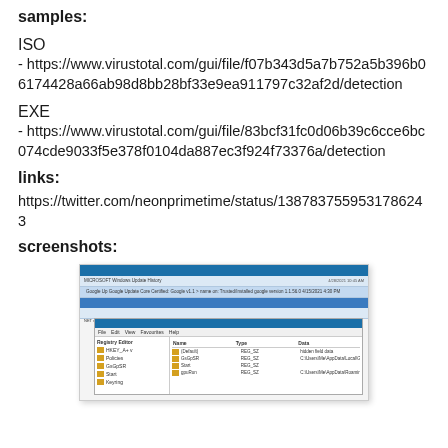samples:
ISO
- https://www.virustotal.com/gui/file/f07b343d5a7b752a5b396b06174428a66ab98d8bb28bf33e9ea911797c32af2d/detection
EXE
- https://www.virustotal.com/gui/file/83bcf31fc0d06b39c6cce6bc074cde9033f5e378f0104da887ec3f924f73376a/detection
links:
https://twitter.com/neonprimetime/status/1387837559531786243
screenshots:
[Figure (screenshot): Screenshot of Windows software showing Microsoft Windows Update History and Registry Editor windows with highlighted entries]